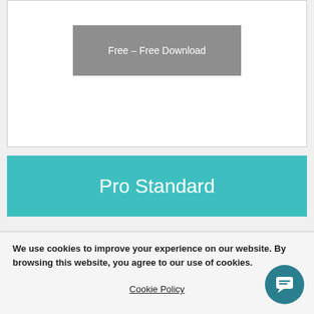[Figure (screenshot): A white card area at the top with a grey button labeled 'Free – Free Download']
Free – Free Download
Pro Standard
We use cookies to improve your experience on our website. By browsing this website, you agree to our use of cookies.
Accept
Cookie Policy